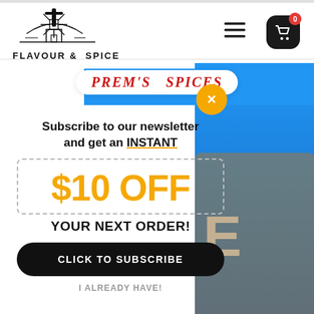[Figure (logo): Flavour & Spice windmill logo with text 'FLAVOUR & SPICE']
[Figure (screenshot): Hamburger menu icon (three horizontal lines)]
[Figure (screenshot): Black cart button with red badge showing 0]
[Figure (screenshot): Yellow close/X button circle]
[Figure (screenshot): Prem's Spices pill badge on blue product banner]
Subscribe to our newsletter and get an INSTANT
$10 OFF
YOUR NEXT ORDER!
CLICK TO SUBSCRIBE
I ALREADY HAVE!